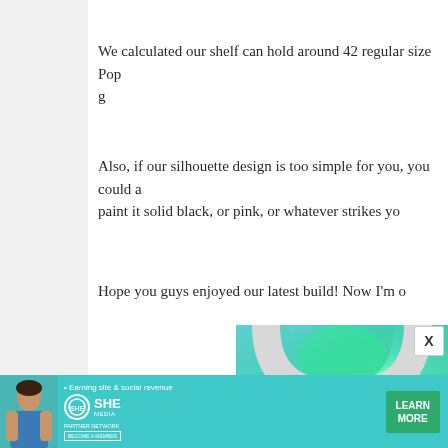We calculated our shelf can hold around 42 regular size Pop g
Also, if our silhouette design is too simple for you, you could a paint it solid black, or pink, or whatever strikes yo
Hope you guys enjoyed our latest build! Now I'm o
[Figure (photo): Photo of a dark skull figure displayed on a white arch/shelf with green ambient lighting against a teal background]
[Figure (infographic): SHE Partner Network advertisement banner with woman, logo, and Learn More button]